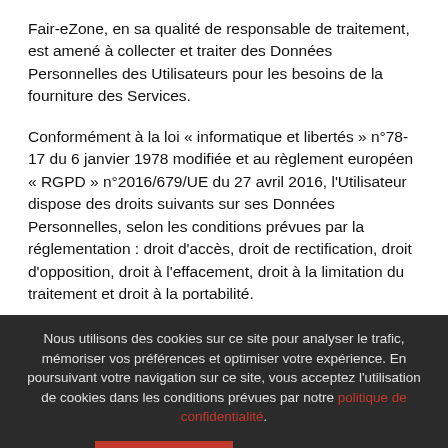Fair-eZone, en sa qualité de responsable de traitement, est amené à collecter et traiter des Données Personnelles des Utilisateurs pour les besoins de la fourniture des Services.
Conformément à la loi « informatique et libertés » n°78-17 du 6 janvier 1978 modifiée et au règlement européen « RGPD » n°2016/679/UE du 27 avril 2016, l'Utilisateur dispose des droits suivants sur ses Données Personnelles, selon les conditions prévues par la réglementation : droit d'accès, droit de rectification, droit d'opposition, droit à l'effacement, droit à la limitation du traitement et droit à la portabilité.
Nous utilisons des cookies sur ce site pour analyser le trafic, mémoriser vos préférences et optimiser votre expérience. En poursuivant votre navigation sur ce site, vous acceptez l'utilisation de cookies dans les conditions prévues par notre politique de confidentialité.